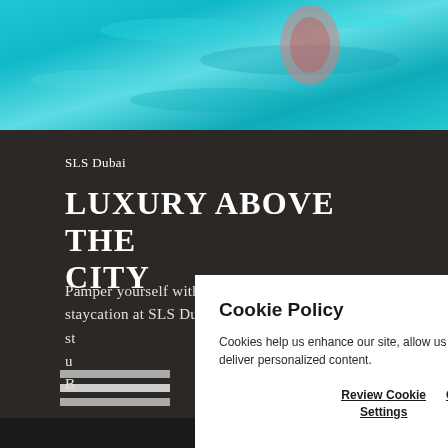[Figure (photo): Top portion of page showing turquoise/cyan pool water from above]
SLS Dubai
LUXURY ABOVE THE CITY
Pamper yourself with a luxurious staycation at SLS Dubai. Elevate your st... u... B...
[Figure (screenshot): Cookie Policy modal popup overlaying the page content. Contains title 'Cookie Policy', body text 'Cookies help us enhance our site, allow us to analyze our traffic, and deliver personalized content.', and two buttons: 'Review Cookie Settings' and 'Close X']